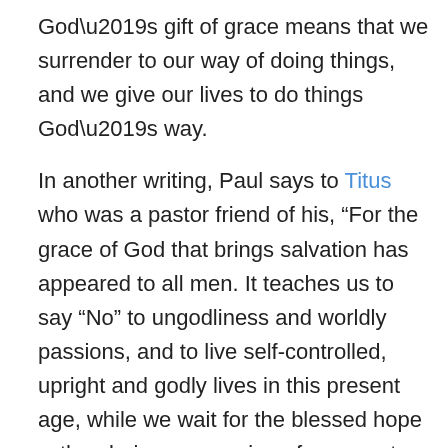God's gift of grace means that we surrender to our way of doing things, and we give our lives to do things God's way.
In another writing, Paul says to Titus who was a pastor friend of his, “For the grace of God that brings salvation has appeared to all men. It teaches us to say “No” to ungodliness and worldly passions, and to live self-controlled, upright and godly lives in this present age, while we wait for the blessed hope—the glorious appearing of our great God and Savior, Jesus Christ, who gave himself for us to redeem us from all wickedness and to purify for himself a people that are his very own, eager to do what is good.”
What this means is that we respond to God’s gift of grace by living lives of grace.  A graceful life is one that pursues self-control, purity, and treating others with grace.  That’s